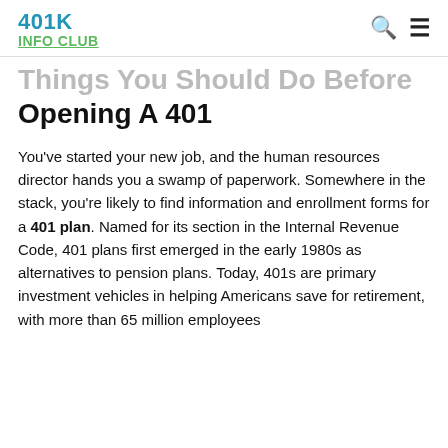401K INFO CLUB
Things You Should Do Before Opening A 401
You've started your new job, and the human resources director hands you a swamp of paperwork. Somewhere in the stack, you're likely to find information and enrollment forms for a 401 plan. Named for its section in the Internal Revenue Code, 401 plans first emerged in the early 1980s as alternatives to pension plans. Today, 401s are primary investment vehicles in helping Americans save for retirement, with more than 65 million employees